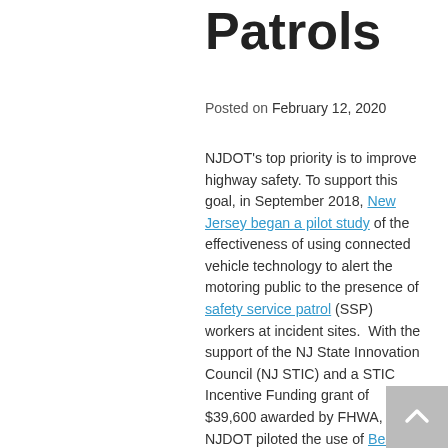Patrols
Posted on February 12, 2020
NJDOT's top priority is to improve highway safety. To support this goal, in September 2018, New Jersey began a pilot study of the effectiveness of using connected vehicle technology to alert the motoring public to the presence of safety service patrol (SSP) workers at incident sites. With the support of the NJ State Innovation Council (NJ STIC) and a STIC Incentive Funding grant of $39,600 awarded by FHWA, NJDOT piloted the use of Beacon Hazard Lights technology on 32 safety service vehicles to alert drivers to the presence of workers via the mobile navigation app Waze. The device, which is produced by iCone, uses GPS location and wireless communication technology to transmit the location of the SSP vehicles to the iCone Data Server in the cloud